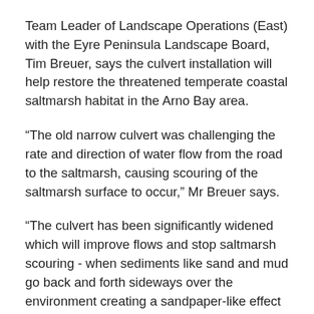Team Leader of Landscape Operations (East) with the Eyre Peninsula Landscape Board, Tim Breuer, says the culvert installation will help restore the threatened temperate coastal saltmarsh habitat in the Arno Bay area.
“The old narrow culvert was challenging the rate and direction of water flow from the road to the saltmarsh, causing scouring of the saltmarsh surface to occur,” Mr Breuer says.
“The culvert has been significantly widened which will improve flows and stop saltmarsh scouring - when sediments like sand and mud go back and forth sideways over the environment creating a sandpaper-like effect - on both sides of the road.
“The improved hydrological flows will also help the algal mat to develop and help to provide a better environment